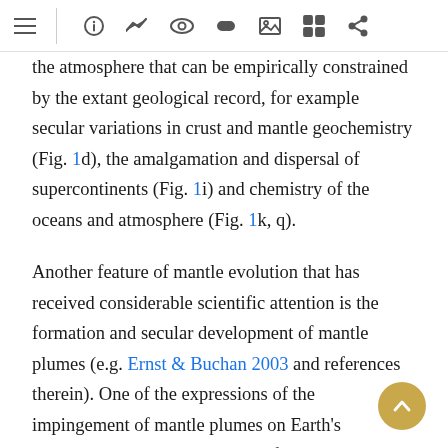[toolbar icons: list, info, chart, eye, link, image, grid, share]
the atmosphere that can be empirically constrained by the extant geological record, for example secular variations in crust and mantle geochemistry (Fig. 1d), the amalgamation and dispersal of supercontinents (Fig. 1i) and chemistry of the oceans and atmosphere (Fig. 1k, q).
Another feature of mantle evolution that has received considerable scientific attention is the formation and secular development of mantle plumes (e.g. Ernst & Buchan 2003 and references therein). One of the expressions of the impingement of mantle plumes on Earth's lithosphere is the development of large igneous provinces (LIPs) (Ernst & Buchan 2001, 2002)